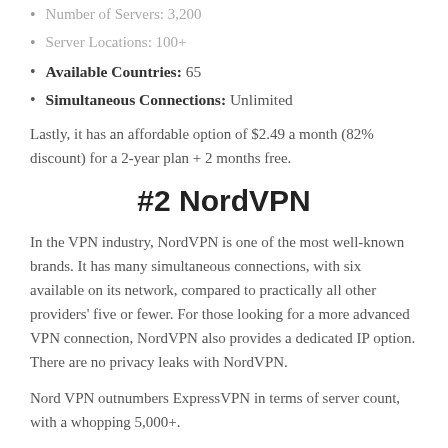Number of Servers: 3,200
Server Locations: 100+
Available Countries: 65
Simultaneous Connections: Unlimited
Lastly, it has an affordable option of $2.49 a month (82% discount) for a 2-year plan + 2 months free.
#2 NordVPN
In the VPN industry, NordVPN is one of the most well-known brands. It has many simultaneous connections, with six available on its network, compared to practically all other providers' five or fewer. For those looking for a more advanced VPN connection, NordVPN also provides a dedicated IP option. There are no privacy leaks with NordVPN.
Nord VPN outnumbers ExpressVPN in terms of server count, with a whopping 5,000+.
Special Features: